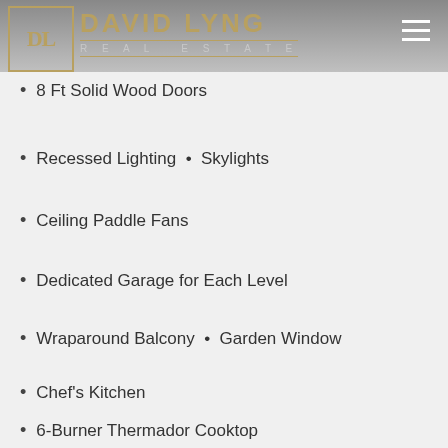12 Ft. High Ceilings
[Figure (logo): David Lyng Real Estate logo with gold DL monogram in bordered box and hamburger menu icon]
8 Ft Solid Wood Doors
Recessed Lighting  •  Skylights
Ceiling Paddle Fans
Dedicated Garage for Each Level
Wraparound Balcony  •  Garden Window
Chef's Kitchen
6-Burner Thermador Cooktop
Thermador Built-In Refrigerator